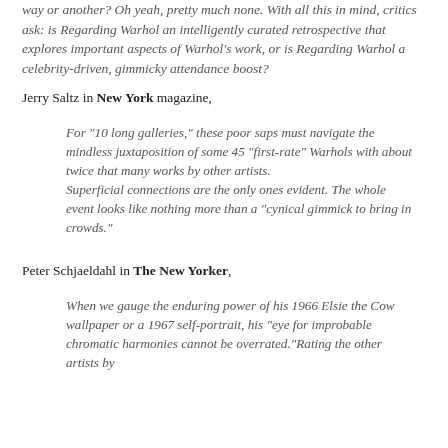way or another? Oh yeah, pretty much none. With all this in mind, critics ask: is Regarding Warhol an intelligently curated retrospective that explores important aspects of Warhol's work, or is Regarding Warhol a celebrity-driven, gimmicky attendance boost?
Jerry Saltz in New York magazine,
For "10 long galleries," these poor saps must navigate the mindless juxtaposition of some 45 "first-rate" Warhols with about twice that many works by other artists. Superficial connections are the only ones evident. The whole event looks like nothing more than a "cynical gimmick to bring in crowds."
Peter Schjaeldahl in The New Yorker,
When we gauge the enduring power of his 1966 Elsie the Cow wallpaper or a 1967 self-portrait, his "eye for improbable chromatic harmonies cannot be overrated."Rating the other artists by